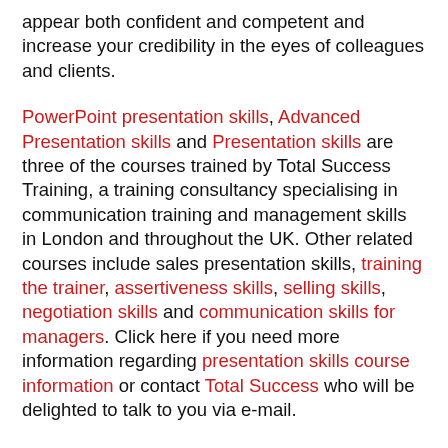appear both confident and competent and increase your credibility in the eyes of colleagues and clients.
PowerPoint presentation skills, Advanced Presentation skills and Presentation skills are three of the courses trained by Total Success Training, a training consultancy specialising in communication training and management skills in London and throughout the UK. Other related courses include sales presentation skills, training the trainer, assertiveness skills, selling skills, negotiation skills and communication skills for managers. Click here if you need more information regarding presentation skills course information or contact Total Success who will be delighted to talk to you via e-mail.